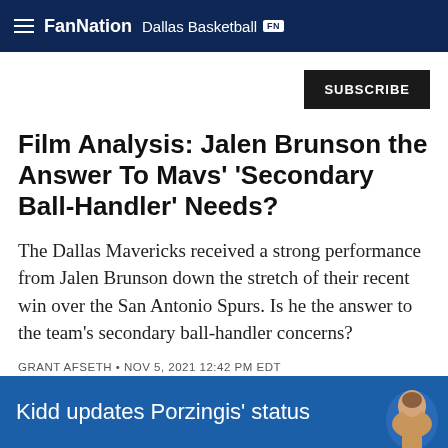FanNation Dallas Basketball
SUBSCRIBE
Film Analysis: Jalen Brunson the Answer To Mavs' 'Secondary Ball-Handler' Needs?
The Dallas Mavericks received a strong performance from Jalen Brunson down the stretch of their recent win over the San Antonio Spurs. Is he the answer to the team's secondary ball-handler concerns?
GRANT AFSETH • NOV 5, 2021 12:42 PM EDT
Kidd updates Porzingis' status